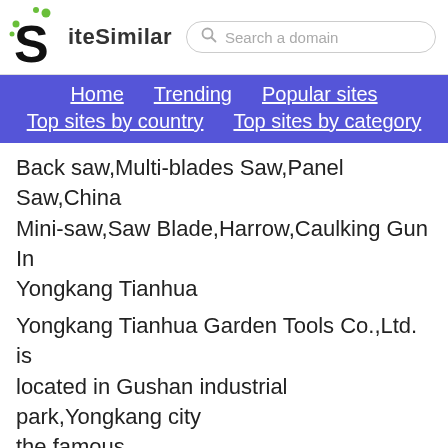SiteSimilar — Search a domain
Home  Trending  Popular sites  Top sites by country  Top sites by category
Back saw,Multi-blades Saw,Panel Saw,China Mini-saw,Saw Blade,Harrow,Caulking Gun In Yongkang Tianhua
Yongkang Tianhua Garden Tools Co.,Ltd. is located in Gushan industrial park,Yongkang city the famous
[Figure (screenshot): Screenshot of Yongkang Tianhua Garden Tools Co., Ltd. website with green navigation bar, logo, and sitesimilar.net watermark]